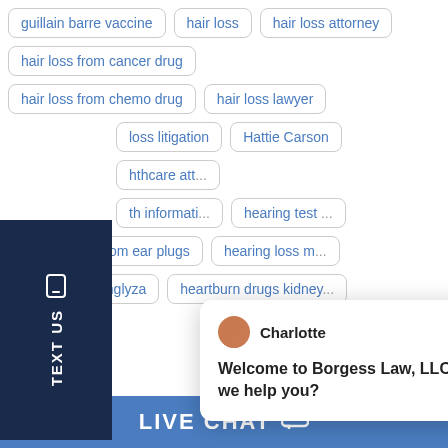guillain barre vaccine
hair loss
hair loss attorney
hair loss from cancer drug
hair loss from chemo drug
hair loss lawyer
loss litigation
Hattie Carson
hcare att...
th informati...
hearing test ...
hearing loss from ear plugs
hearing loss m...
heart attack onglyza
heartburn drugs kidney
[Figure (screenshot): Chat popup from Charlotte at Borgess Law LLC saying Welcome to Borgess Law, LLC! How can we help you?]
LIVE CHAT